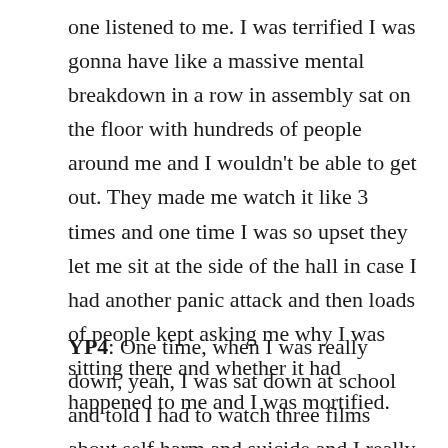one listened to me. I was terrified I was gonna have like a massive mental breakdown in a row in assembly sat on the floor with hundreds of people around me and I wouldn't be able to get out. They made me watch it like 3 times and one time I was so upset they let me sit at the side of the hall in case I had another panic attack and then loads of people kept asking me why I was sitting there and whether it had happened to me and I was mortified.
YP4: One time, when I was really down, yeah, I was sat down at school and told I had to watch three films about self harm and suicide and I really didn't wanna watch them but they told me I had to so I did. Two of the films